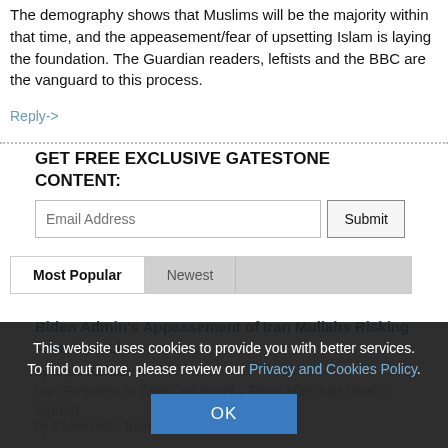The demography shows that Muslims will be the majority within that time, and the appeasement/fear of upsetting Islam is laying the foundation. The Guardian readers, leftists and the BBC are the vanguard to this process.
Reply->
GET FREE EXCLUSIVE GATESTONE CONTENT:
Most Popular | Newest
Biden Admin's Appeasement of Iran Mullahs Risking American Lives
by Majid Rafizadeh
Iran Prepares to Take Out Israel – Right after Iran Deal Is Signed
by Khaled Abu Toameh
This website uses cookies to provide you with better services. To find out more, please review our Privacy and Cookies Policy.
OK